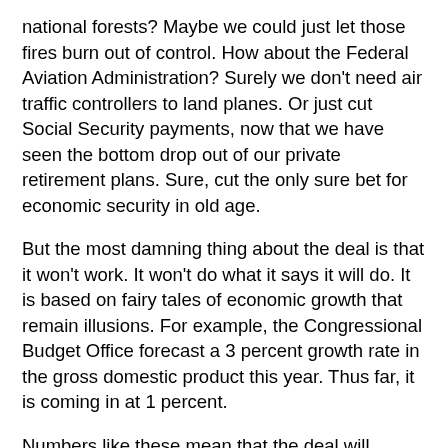national forests? Maybe we could just let those fires burn out of control. How about the Federal Aviation Administration? Surely we don't need air traffic controllers to land planes. Or just cut Social Security payments, now that we have seen the bottom drop out of our private retirement plans. Sure, cut the only sure bet for economic security in old age.
But the most damning thing about the deal is that it won't work. It won't do what it says it will do. It is based on fairy tales of economic growth that remain illusions. For example, the Congressional Budget Office forecast a 3 percent growth rate in the gross domestic product this year. Thus far, it is coming in at 1 percent.
Numbers like these mean that the deal will deepen stagnation and lead us into a double-dip recession. As a result, tax revenues will decline, because there will be fewer jobs, less out-of-pocket consumption and less income. At the same time, the need for essential supports, such as unemployment insurance, health care and food stamps, will increase, for dire consequences, not decline.